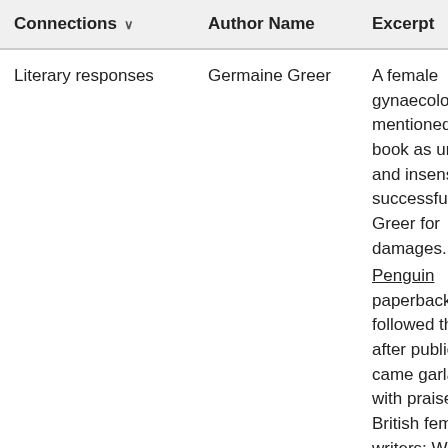| Connections ∨ | Author Name | Excerpt |
| --- | --- | --- |
| Literary responses | Germaine Greer | A female gynaecologist mentioned in the book as uncaring and insensitive successfully sued Greer for damages. ”” The Penguin paperback which followed the year after publication came garlanded with praise from British feminist writers: Wendy |